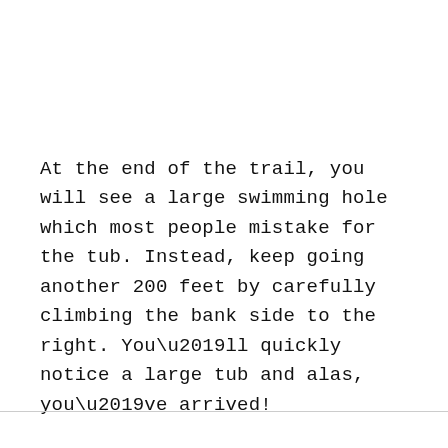At the end of the trail, you will see a large swimming hole which most people mistake for the tub. Instead, keep going another 200 feet by carefully climbing the bank side to the right. You'll quickly notice a large tub and alas, you've arrived!